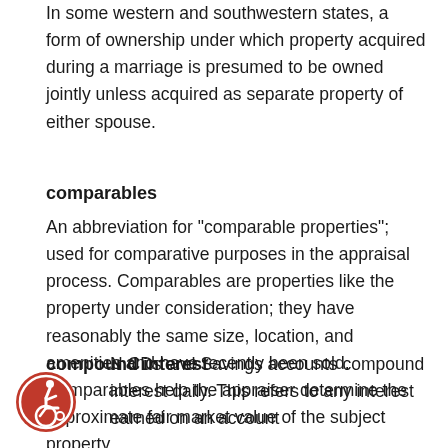In some western and southwestern states, a form of ownership under which property acquired during a marriage is presumed to be owned jointly unless acquired as separate property of either spouse.
comparables
An abbreviation for "comparable properties"; used for comparative purposes in the appraisal process. Comparables are properties like the property under consideration; they have reasonably the same size, location, and amenities and have recently been sold. Comparables help the appraiser determine the approximate fair market value of the subject property.
compound interest
N CDs and Savings accounts compound interest daily. This refers to any interest earned on an account